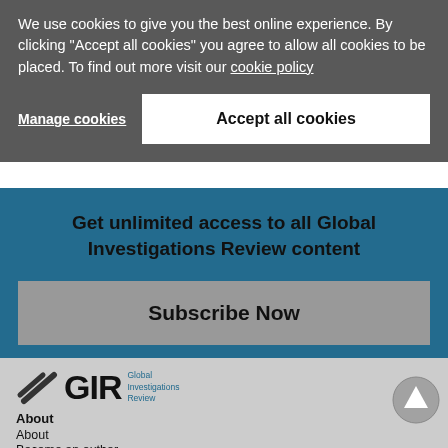We use cookies to give you the best online experience. By clicking "Accept all cookies" you agree to allow all cookies to be placed. To find out more visit our cookie policy
Manage cookies
Accept all cookies
Get unlimited access to all Global Investigations Review content
Subscribe Now
[Figure (logo): Global Investigations Review (GIR) logo with diagonal slash mark graphic]
About
About
Become an author